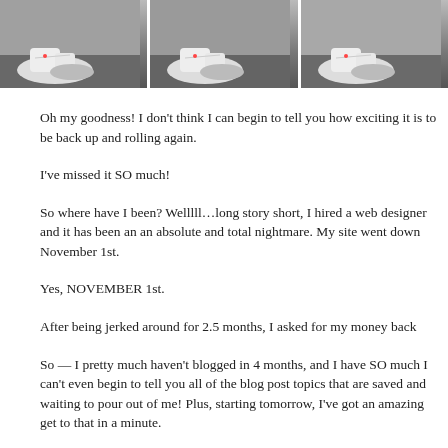[Figure (photo): Three side-by-side photos of sneakers/shoes on a dark floor, partially cropped at the top of the page]
Oh my goodness!  I don't think I can begin to tell you how exciting it is to be back up and rolling again.
I've missed it SO much!
So where have I been? Welllll…long story short, I hired a web designer and it has been an an absolute and total nightmare.  My site went down November 1st.
Yes, NOVEMBER 1st.
After being jerked around for 2.5 months, I asked for my money back
So — I pretty much haven't blogged in 4 months, and I have SO much I can't even begin to tell you all of the blog post topics that are saved and waiting to pour out of me!  Plus, starting tomorrow, I've got an amazing get to that in a minute.
First, a couple of quick personal updates!